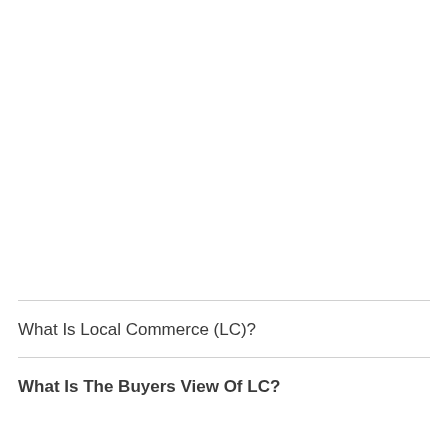What Is Local Commerce (LC)?
What Is The Buyers View Of LC?